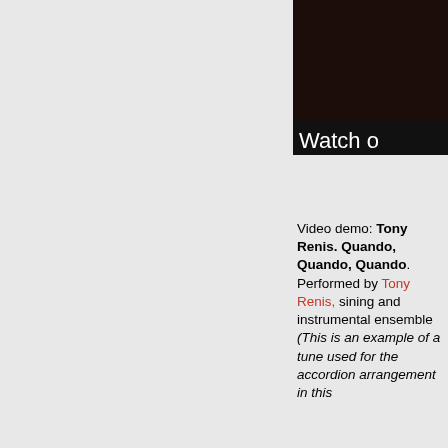[Figure (screenshot): A dark video thumbnail with white text reading 'Watch o' (partially visible), showing a video player interface with dark background.]
Video demo: Tony Renis. Quando, Quando, Quando. Performed by Tony Renis, sining and instrumental ensemble (This is an example of a tune used for the accordion arrangement in this